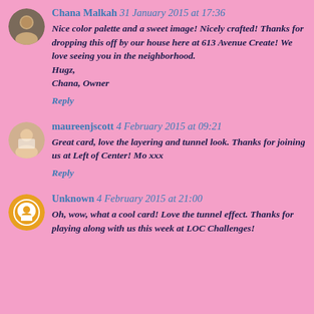Chana Malkah 31 January 2015 at 17:36
Nice color palette and a sweet image! Nicely crafted! Thanks for dropping this off by our house here at 613 Avenue Create! We love seeing you in the neighborhood.
Hugz,
Chana, Owner
Reply
maureenjscott 4 February 2015 at 09:21
Great card, love the layering and tunnel look. Thanks for joining us at Left of Center! Mo xxx
Reply
Unknown 4 February 2015 at 21:00
Oh, wow, what a cool card! Love the tunnel effect. Thanks for playing along with us this week at LOC Challenges!